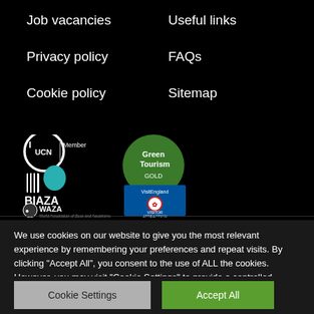Job vacancies
Privacy policy
Cookie policy
Useful links
FAQs
Sitemap
[Figure (logo): IUCN Member logo, Green Tourism Gold logo, BIAZA logo with zebra and horse, VisitEngland Visitor Attraction logo, WAZA World Association of Zoos and Aquariums logo]
We use cookies on our website to give you the most relevant experience by remembering your preferences and repeat visits. By clicking "Accept All", you consent to the use of ALL the cookies. However, you may visit "Cookie Settings" to provide a controlled consent.
Cookie Settings
Accept All